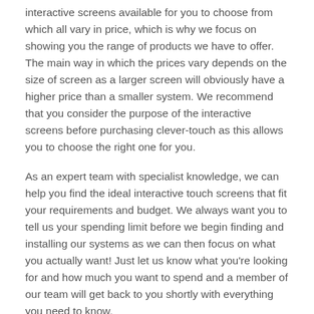interactive screens available for you to choose from which all vary in price, which is why we focus on showing you the range of products we have to offer. The main way in which the prices vary depends on the size of screen as a larger screen will obviously have a higher price than a smaller system. We recommend that you consider the purpose of the interactive screens before purchasing clever-touch as this allows you to choose the right one for you.
As an expert team with specialist knowledge, we can help you find the ideal interactive touch screens that fit your requirements and budget. We always want you to tell us your spending limit before we begin finding and installing our systems as we can then focus on what you actually want! Just let us know what you're looking for and how much you want to spend and a member of our team will get back to you shortly with everything you need to know.
Other Services We Offer
School Interactive Whiteboard in Monmouthshire - https://www.interactivetouchscreens.org.uk/teacher-